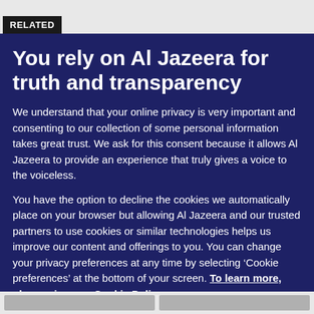RELATED
You rely on Al Jazeera for truth and transparency
We understand that your online privacy is very important and consenting to our collection of some personal information takes great trust. We ask for this consent because it allows Al Jazeera to provide an experience that truly gives a voice to the voiceless.
You have the option to decline the cookies we automatically place on your browser but allowing Al Jazeera and our trusted partners to use cookies or similar technologies helps us improve our content and offerings to you. You can change your privacy preferences at any time by selecting ‘Cookie preferences’ at the bottom of your screen. To learn more, please view our Cookie Policy.